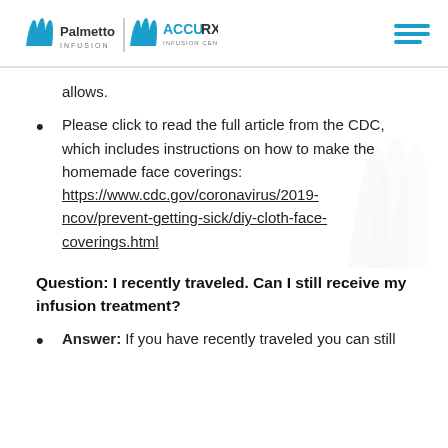Palmetto Infusion | ACCURX Infusion Center
allows.
Please click to read the full article from the CDC, which includes instructions on how to make the homemade face coverings: https://www.cdc.gov/coronavirus/2019-ncov/prevent-getting-sick/diy-cloth-face-coverings.html
Question: I recently traveled. Can I still receive my infusion treatment?
Answer: If you have recently traveled you can still